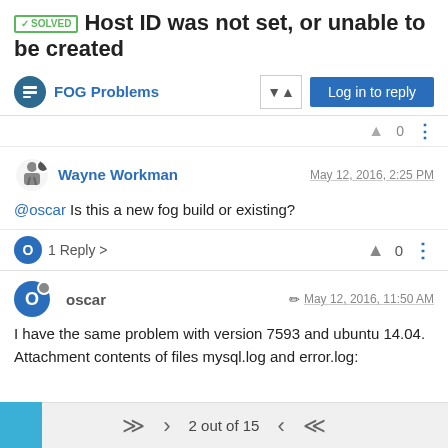✓SOLVED Host ID was not set, or unable to be created
FOG Problems
Wayne Workman  May 12, 2016, 2:25 PM
@oscar Is this a new fog build or existing?
1 Reply > 0
oscar  May 12, 2016, 11:50 AM
I have the same problem with version 7593 and ubuntu 14.04. Attachment contents of files mysql.log and error.log:
2 out of 15